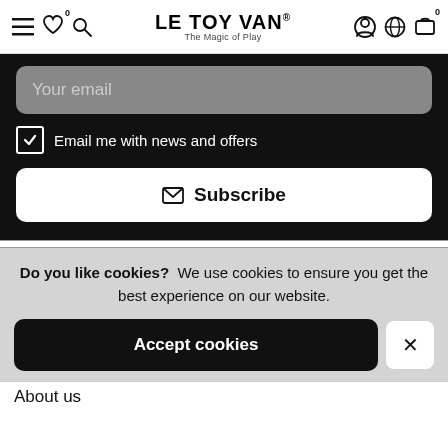LE TOY VAN® - The Magic of Play
Your email
Email me with news and offers
Subscribe
Do you like cookies? We use cookies to ensure you get the best experience on our website.
Accept cookies
About us